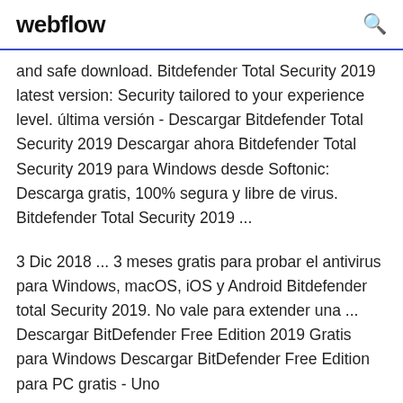webflow
and safe download. Bitdefender Total Security 2019 latest version: Security tailored to your experience level. última versión - Descargar Bitdefender Total Security 2019 Descargar ahora Bitdefender Total Security 2019 para Windows desde Softonic: Descarga gratis, 100% segura y libre de virus. Bitdefender Total Security 2019 ...
3 Dic 2018 ... 3 meses gratis para probar el antivirus para Windows, macOS, iOS y Android Bitdefender total Security 2019. No vale para extender una ... Descargar BitDefender Free Edition 2019 Gratis para Windows Descargar BitDefender Free Edition para PC gratis - Uno